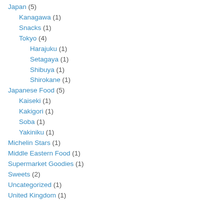Japan (5)
Kanagawa (1)
Snacks (1)
Tokyo (4)
Harajuku (1)
Setagaya (1)
Shibuya (1)
Shirokane (1)
Japanese Food (5)
Kaiseki (1)
Kakigori (1)
Soba (1)
Yakiniku (1)
Michelin Stars (1)
Middle Eastern Food (1)
Supermarket Goodies (1)
Sweets (2)
Uncategorized (1)
United Kingdom (1)